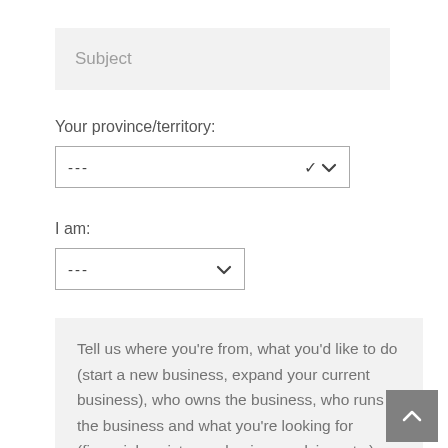Subject
Your province/territory:
---
I am:
---
Tell us where you're from, what you'd like to do (start a new business, expand your current business), who owns the business, who runs the business and what you're looking for (financial assistance, business advice, etc.)